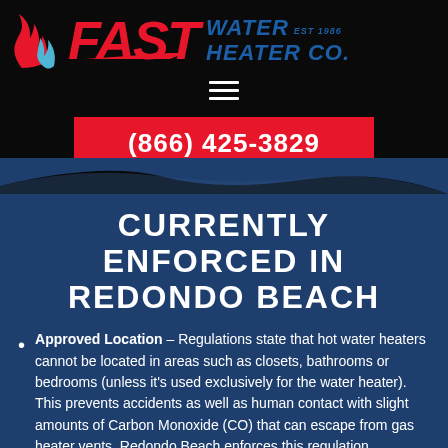[Figure (logo): Fast Water Heater Co. logo with flame icon, red FAST text, and blue WATER HEATER CO. text on black background. EST 1986 shown next to WATER.]
[Figure (infographic): Hamburger menu icon (three horizontal white lines) on black background]
(866) 425-3829
CURRENTLY ENFORCED IN REDONDO BEACH
Approved Location – Regulations state that hot water heaters cannot be located in areas such as closets, bathrooms or bedrooms (unless it's used exclusively for the water heater). This prevents accidents as well as human contact with slight amounts of Carbon Monoxide (CO) that can escape from gas heater vents. Redondo Beach enforces this regulation